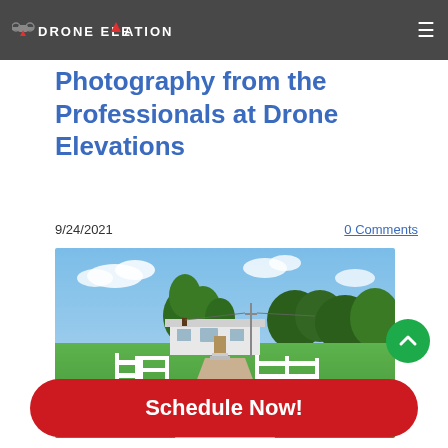DRONE ELEVATIONS
Photography from the Professionals at Drone Elevations
9/24/2021
0 Comments
[Figure (photo): Aerial/ground-level photograph of a rural property with a white mobile home, white fence gates along a dirt driveway, green lawn, and trees in the background under a partly cloudy sky.]
Schedule Now!